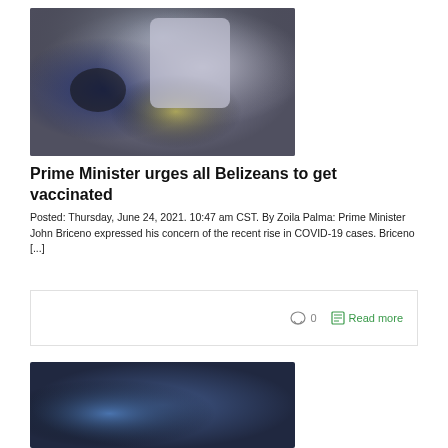[Figure (photo): A person in a white shirt administering a vaccination to someone wearing a black face mask, with flowers visible in the background.]
Prime Minister urges all Belizeans to get vaccinated
Posted: Thursday, June 24, 2021. 10:47 am CST. By Zoila Palma: Prime Minister John Briceno expressed his concern of the recent rise in COVID-19 cases. Briceno [...]
◯ 0  📄 Read more
[Figure (photo): A partially visible photo of what appears to be a blue-toned medical or news scene, cropped at the bottom of the page.]